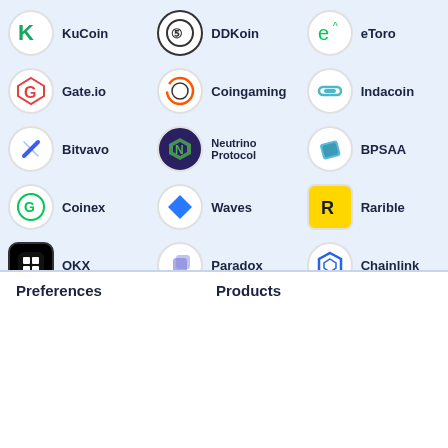[Figure (screenshot): Grid of cryptocurrency exchange and platform logos with names: KuCoin, DDKoin, eToro, Gate.io, Coingaming, Indacoin, Bitvavo, Neutrino Protocol, BPSAA, Coinex, Waves, Rarible, OKX, Paradox, Chainlink]
Preferences
Products
[Figure (illustration): Advertisement banner with dog coin illustration, trending crypto arrow chart graphic]
TOP TRENDING CRYPTO
Tamadoge - Tamadoge raises $500k in last 24 hours
INVEST NOW